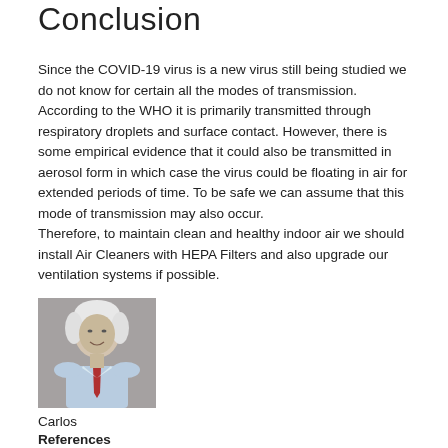Conclusion
Since the COVID-19 virus is a new virus still being studied we do not know for certain all the modes of transmission. According to the WHO it is primarily transmitted through respiratory droplets and surface contact. However, there is some empirical evidence that it could also be transmitted in aerosol form in which case the virus could be floating in air for extended periods of time. To be safe we can assume that this mode of transmission may also occur.
Therefore, to maintain clean and healthy indoor air we should install Air Cleaners with HEPA Filters and also upgrade our ventilation systems if possible.
[Figure (photo): Portrait photo of an elderly man with white hair, wearing a light blue shirt and red tie, smiling slightly, against a grey background.]
Carlos
References